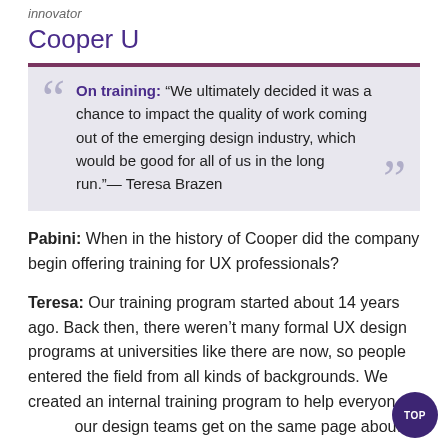innovator
Cooper U
On training: “We ultimately decided it was a chance to impact the quality of work coming out of the emerging design industry, which would be good for all of us in the long run.”— Teresa Brazen
Pabini: When in the history of Cooper did the company begin offering training for UX professionals?
Teresa: Our training program started about 14 years ago. Back then, there weren’t many formal UX design programs at universities like there are now, so people entered the field from all kinds of backgrounds. We created an internal training program to help everyone our design teams get on the same page about process,